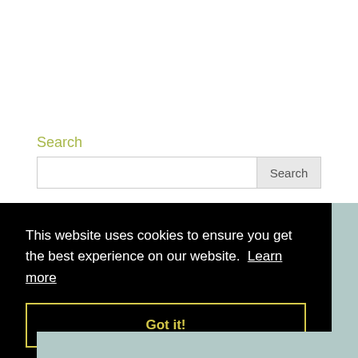Search
[Figure (screenshot): Search input box with a 'Search' button on the right]
This website uses cookies to ensure you get the best experience on our website. Learn more
Got it!